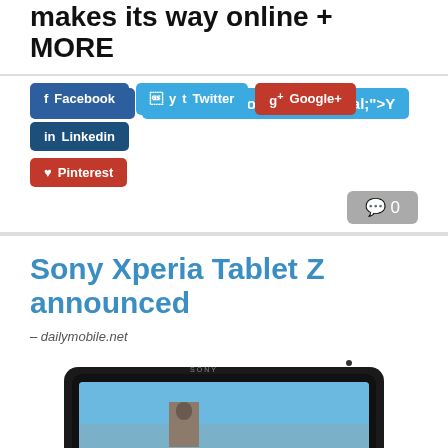makes its way online + MORE
Facebook  Twitter  Google+  Linkedin  Pinterest
0
Sony Xperia Tablet Z announced
– dailymobile.net
[Figure (photo): Sony Xperia Tablet Z shown at an angle displaying a coastal scene with boats and a harbor on its 10-inch screen]